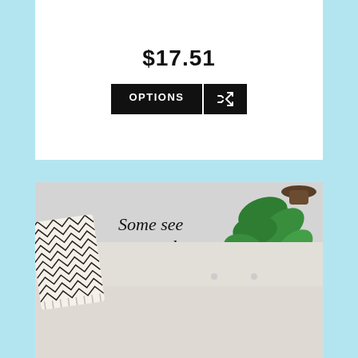$17.51
[Figure (screenshot): Two buttons: OPTIONS (black button) and a shuffle icon button (black)]
[Figure (photo): Wall art decal in a living room setting showing a dandelion illustration with the quote: Some see a weed... Others see a Wish. A trailing plant hangs from upper right and a sofa with a patterned pillow is visible at the bottom.]